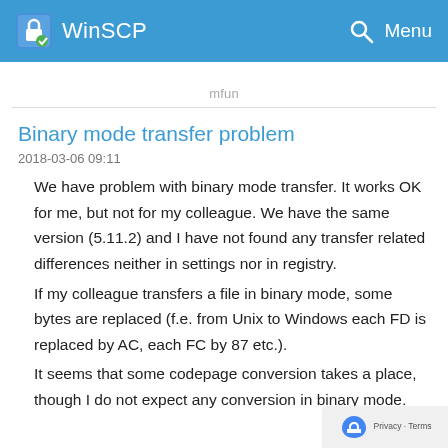WinSCP  Menu
mfun
Binary mode transfer problem
2018-03-06 09:11
We have problem with binary mode transfer. It works OK for me, but not for my colleague. We have the same version (5.11.2) and I have not found any transfer related differences neither in settings nor in registry.
If my colleague transfers a file in binary mode, some bytes are replaced (f.e. from Unix to Windows each FD is replaced by AC, each FC by 87 etc.).
It seems that some codepage conversion takes a place, though I do not expect any conversion in binary mode.